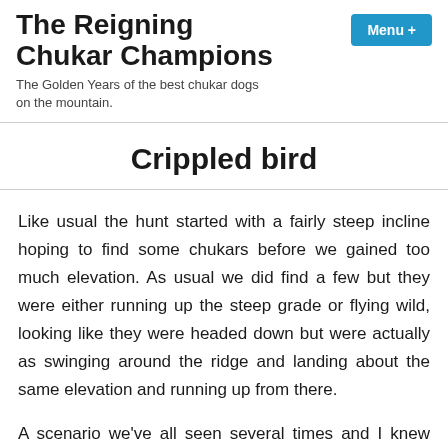The Reigning Chukar Champions
The Golden Years of the best chukar dogs on the mountain.
Crippled bird
Like usual the hunt started with a fairly steep incline hoping to find some chukars before we gained too much elevation. As usual we did find a few but they were either running up the steep grade or flying wild, looking like they were headed down but were actually as swinging around the ridge and landing about the same elevation and running up from there.
A scenario we've all seen several times and I knew that